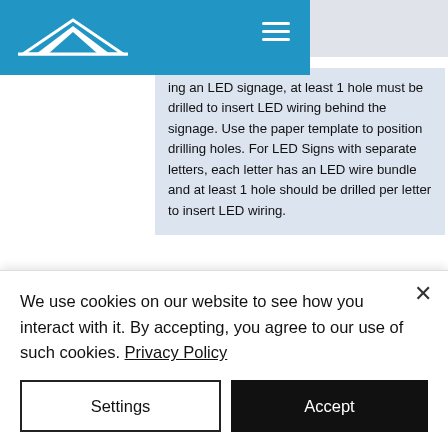Navigation header with logo and hamburger menu
ing an LED signage, at least 1 hole must be drilled to insert LED wiring behind the signage. Use the paper template to position drilling holes. For LED Signs with separate letters, each letter has an LED wire bundle and at least 1 hole should be drilled per letter to insert LED wiring.
[Figure (illustration): Two side-by-side installation method diagrams: Method A: Adhesive mounting (showing adhesive tape application to LED letter), Method B: Screw mounting (showing screw and anchor installation with warning symbol)]
We use cookies on our website to see how you interact with it. By accepting, you agree to our use of such cookies. Privacy Policy
Settings
Accept